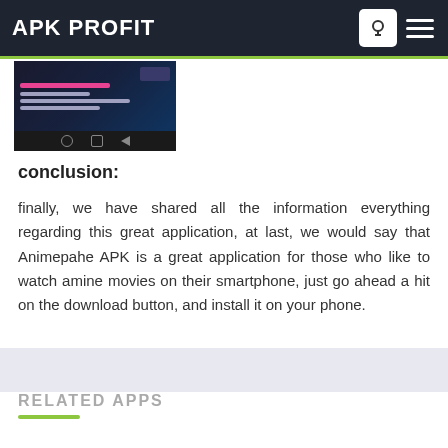APK PROFIT
[Figure (screenshot): Screenshot of an Android app showing a dark themed interface with navigation bar at bottom]
conclusion:
finally, we have shared all the information everything regarding this great application, at last, we would say that Animepahe APK is a great application for those who like to watch amine movies on their smartphone, just go ahead a hit on the download button, and install it on your phone.
RELATED APPS